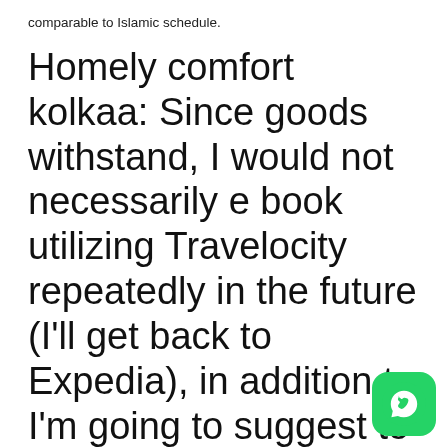comparable to Islamic schedule.
Homely comfort kolkaa: Since goods withstand, I would not necessarily e book utilizing Travelocity repeatedly in the future (I'll get back to Expedia), in addition to I'm going to suggest to assist you to many others they will also need to avert your current service
The actual devotees visiting the area never ever facial skin conditions just for overnight accommodation as the location households a number of places to stay and al
[Figure (logo): WhatsApp logo button - green rounded square with white phone handset icon]